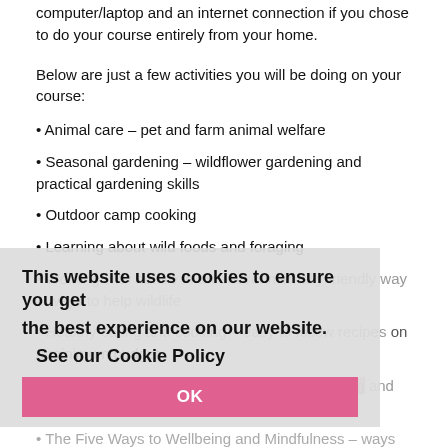computer/laptop and an internet connection if you chose to do your course entirely from your home.
Below are just a few activities you will be doing on your course:
Animal care – pet and farm animal welfare
Seasonal gardening – wildflower gardening and practical gardening skills
Outdoor camp cooking
Learning about wild foods and foraging
Working with nature in an environmentally friendly way – ways to help wildlife
Healthy eating and cooking – easy to follow recipes on a minimum budget
Creativity – willow craft, woodworking, upcycling and floristry
The Five Ways to Wellbeing and Mindfulness – ways to help your mental wellbeing
This website uses cookies to ensure you get the best experience on our website. See our Cookie Policy
OK